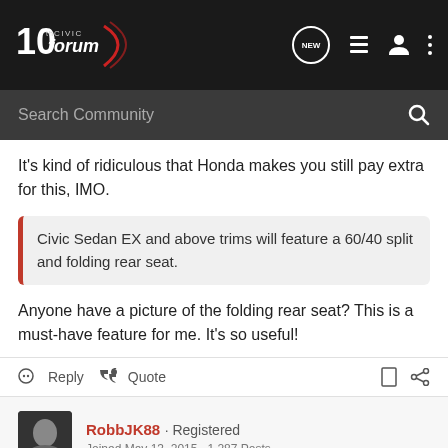10th Civic Forum
It's kind of ridiculous that Honda makes you still pay extra for this, IMO.
Civic Sedan EX and above trims will feature a 60/40 split and folding rear seat.
Anyone have a picture of the folding rear seat? This is a must-have feature for me. It's so useful!
RobbJK88 · Registered
Joined May 13, 2015 · 1,287 Posts